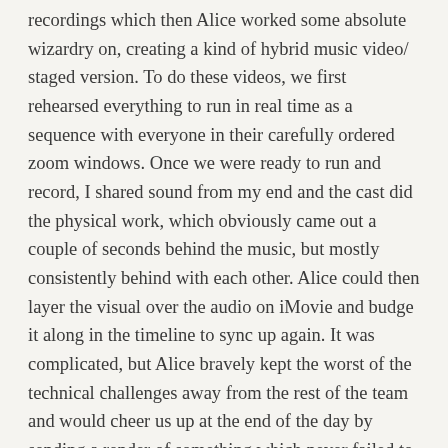recordings which then Alice worked some absolute wizardry on, creating a kind of hybrid music video/ staged version. To do these videos, we first rehearsed everything to run in real time as a sequence with everyone in their carefully ordered zoom windows. Once we were ready to run and record, I shared sound from my end and the cast did the physical work, which obviously came out a couple of seconds behind the music, but mostly consistently behind with each other. Alice could then layer the visual over the audio on iMovie and budge it along in the timeline to sync up again. It was complicated, but Alice bravely kept the worst of the technical challenges away from the rest of the team and would cheer us up at the end of the day by sending a render of something which never failed to make us laugh. I'm proud of the fact that we managed to create things which were 'staged' and they gave a lovely sense of tone and creative madness which helped tell the story.